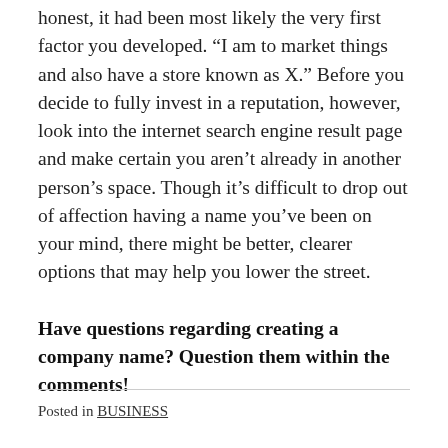honest, it had been most likely the very first factor you developed. “I am to market things and also have a store known as X.” Before you decide to fully invest in a reputation, however, look into the internet search engine result page and make certain you aren’t already in another person’s space. Though it’s difficult to drop out of affection having a name you’ve been on your mind, there might be better, clearer options that may help you lower the street.
Have questions regarding creating a company name? Question them within the comments!
Posted in BUSINESS